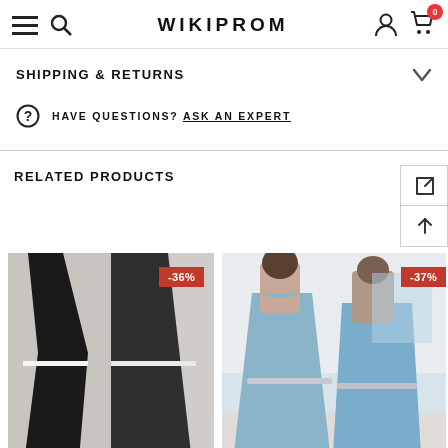WIKIPROM
SHIPPING & RETURNS
HAVE QUESTIONS? ASK AN EXPERT
RELATED PRODUCTS
[Figure (photo): Two-piece black spaghetti strap prom dress on mannequin, with -36% discount badge]
[Figure (photo): Light blue off-shoulder prom dress worn by two women, partially cut off with discount badge]